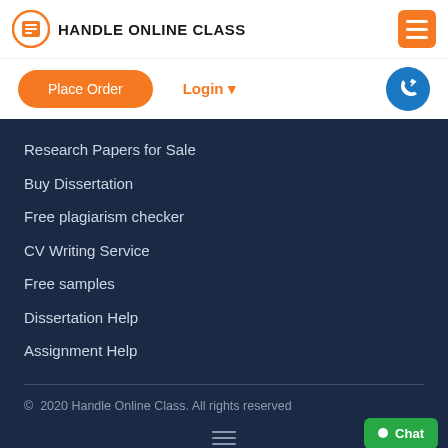[Figure (logo): Handle Online Class logo — orange circle icon with document graphic and bold text 'HANDLE ONLINE CLASS']
[Figure (other): Orange hamburger menu button (three white lines on orange square)]
Place Order
Login ▾
[Figure (other): Blue circle phone/callback icon button]
Research Papers for Sale
Buy Dissertation
Free plagiarism checker
CV Writing Service
Free samples
Dissertation Help
Assignment Help
© 2020 Handle Online Class. All rights reserved
[Figure (other): Three-line hamburger icon centered at bottom]
Chat